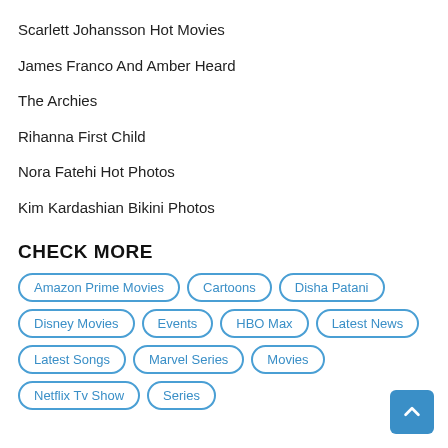Scarlett Johansson Hot Movies
James Franco And Amber Heard
The Archies
Rihanna First Child
Nora Fatehi Hot Photos
Kim Kardashian Bikini Photos
CHECK MORE
Amazon Prime Movies
Cartoons
Disha Patani
Disney Movies
Events
HBO Max
Latest News
Latest Songs
Marvel Series
Movies
Netflix Tv Show
Series